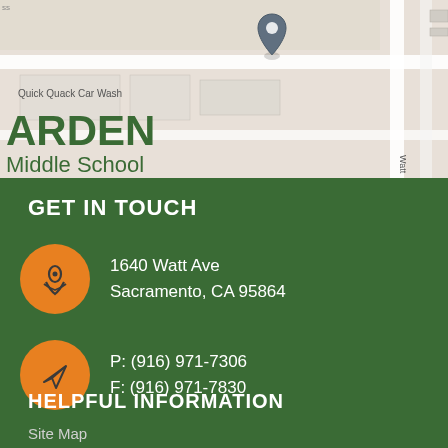[Figure (map): Google Maps view showing Arden Middle School location at 1640 Watt Ave, Sacramento with a map pin and surrounding streets]
ARDEN Middle School
GET IN TOUCH
1640 Watt Ave Sacramento, CA 95864
P: (916) 971-7306 F: (916) 971-7830
HELPFUL INFORMATION
Site Map